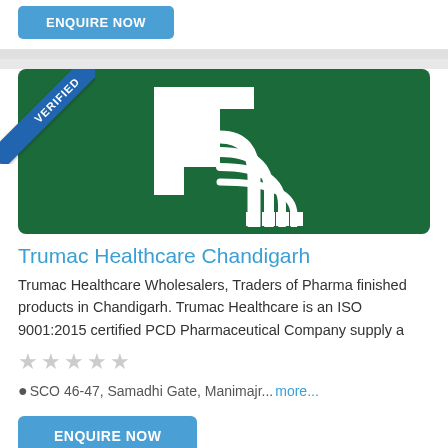ENQUIRE NOW
[Figure (logo): Trumac Healthcare company logo - white stylized letter T and building/pipe design on dark green background]
Trumac Healthcare Chandigarh
Trumac Healthcare Wholesalers, Traders of Pharma finished products in Chandigarh. Trumac Healthcare is an ISO 9001:2015 certified PCD Pharmaceutical Company supply a
[Figure (other): Five empty/unfilled star rating icons in light grey]
SCO 46-47, Samadhi Gate, Manimajr...more...
ENQUIRE NOW